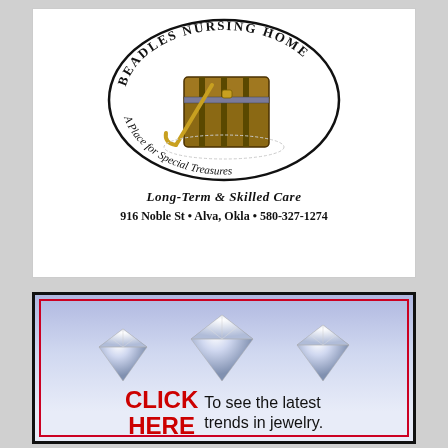[Figure (logo): Beadles Nursing Home oval logo with treasure chest image and text 'A Place for Special Treasures']
Long-Term & Skilled Care
916 Noble St • Alva, Okla • 580-327-1274
[Figure (illustration): Three diamond gemstone illustrations on a blue-purple gradient background]
CLICK HERE To see the latest trends in jewelry.
EDIGER'S